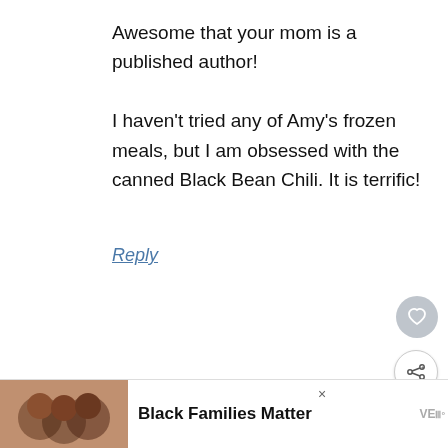Awesome that your mom is a published author!

I haven't tried any of Amy's frozen meals, but I am obsessed with the canned Black Bean Chili. It is terrific!
Reply
Lisa says
February 10, 2010 at 9:40 pm
[Figure (infographic): Ad banner with photo of people and text 'Black Families Matter']
[Figure (infographic): What's Next widget showing Bourbon Spiked with thumbnail image]